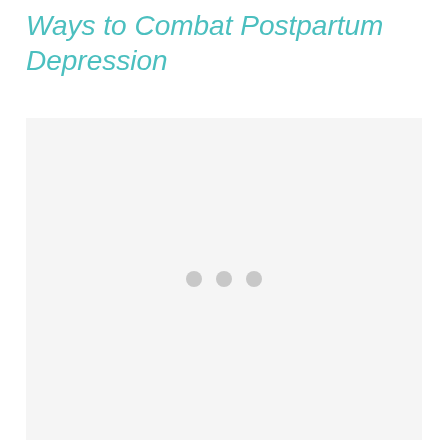Ways to Combat Postpartum Depression
[Figure (photo): Large image placeholder with light gray background and three gray loading dots in the center, indicating an image that is loading or unavailable.]